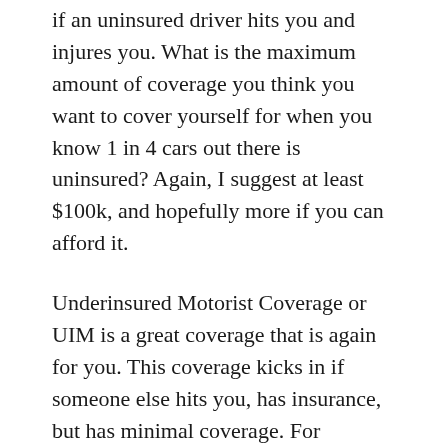if an uninsured driver hits you and injures you. What is the maximum amount of coverage you think you want to cover yourself for when you know 1 in 4 cars out there is uninsured? Again, I suggest at least $100k, and hopefully more if you can afford it.
Underinsured Motorist Coverage or UIM is a great coverage that is again for you. This coverage kicks in if someone else hits you, has insurance, but has minimal coverage. For example, if someone hits you and you are seriously injured. If you have a claim that is worth $50,000, but the other guy only has $25,000 in coverage, your Underinsured motorist coverage kicks in money to you. You get his $25,000 and your Underinsured adds whatever amount you have coverage to. For example if you have $100,000